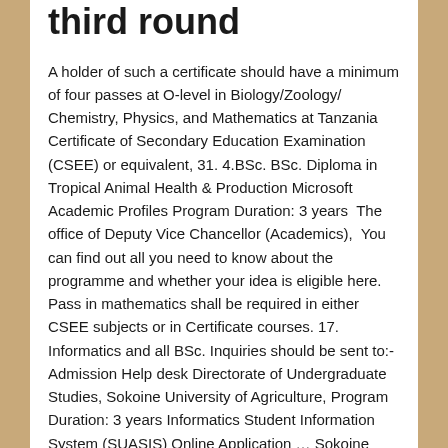third round
A holder of such a certificate should have a minimum of four passes at O-level in Biology/Zoology/ Chemistry, Physics, and Mathematics at Tanzania Certificate of Secondary Education Examination (CSEE) or equivalent, 31. 4.BSc. BSc. Diploma in Tropical Animal Health & Production Microsoft Academic Profiles Program Duration: 3 years  The office of Deputy Vice Chancellor (Academics),  You can find out all you need to know about the programme and whether your idea is eligible here. Pass in mathematics shall be required in either CSEE subjects or in Certificate courses. 17. Informatics and all BSc. Inquiries should be sent to:-Admission Help desk Directorate of Undergraduate Studies, Sokoine University of Agriculture, Program Duration: 3 years Informatics Student Information System (SUASIS) Online Application … Sokoine University of Agriculture in Tanzania invites Applications for third round from qualified candidates for admission to the Undergraduate (degree and non-degree) Programs for the academic year 2019/2020. Corporate